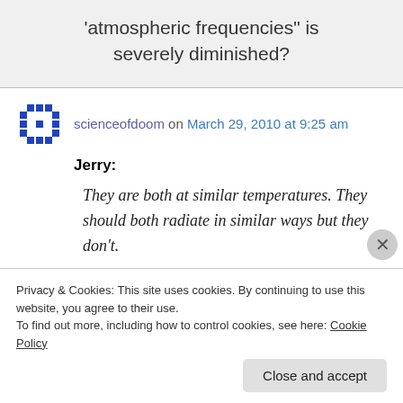'atmospheric frequencies" is severely diminished?
scienceofdoom on March 29, 2010 at 9:25 am
Jerry:
They are both at similar temperatures. They should both radiate in similar ways but they don't.
Privacy & Cookies: This site uses cookies. By continuing to use this website, you agree to their use. To find out more, including how to control cookies, see here: Cookie Policy
Close and accept